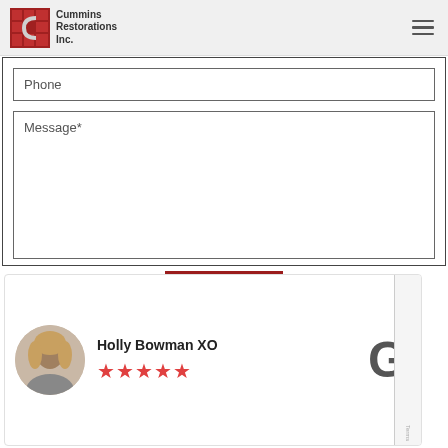Cummins Restorations Inc.
Phone
Message*
SUBMIT
Holly Bowman XO ★★★★★